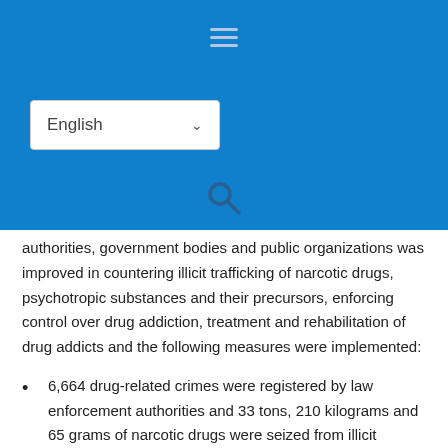[Figure (other): Blue header bar with hamburger menu icon, English language selector dropdown, and search magnifying glass icon]
authorities, government bodies and public organizations was improved in countering illicit trafficking of narcotic drugs, psychotropic substances and their precursors, enforcing control over drug addiction, treatment and rehabilitation of drug addicts and the following measures were implemented:
6,664 drug-related crimes were registered by law enforcement authorities and 33 tons, 210 kilograms and 65 grams of narcotic drugs were seized from illicit trafficking. This includes 2 tons 261 kilograms and 523 grams of heroin, 7 tons 859 kilograms and 598 grams of opium, 88...